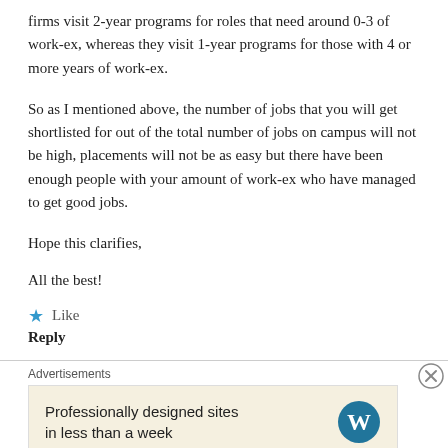firms visit 2-year programs for roles that need around 0-3 of work-ex, whereas they visit 1-year programs for those with 4 or more years of work-ex.
So as I mentioned above, the number of jobs that you will get shortlisted for out of the total number of jobs on campus will not be high, placements will not be as easy but there have been enough people with your amount of work-ex who have managed to get good jobs.
Hope this clarifies,
All the best!
Like
Reply
Advertisements
Professionally designed sites in less than a week